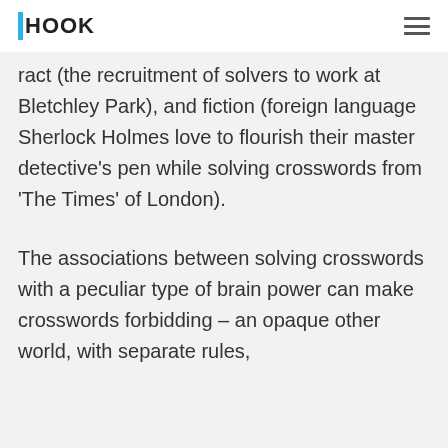HOOK
ract (the recruitment of solvers to work at Bletchley Park), and fiction (foreign language Sherlock Holmes love to flourish their master detective’s pen while solving crosswords from ‘The Times’ of London).
The associations between solving crosswords with a peculiar type of brain power can make crosswords forbidding – an opaque other world, with separate rules,